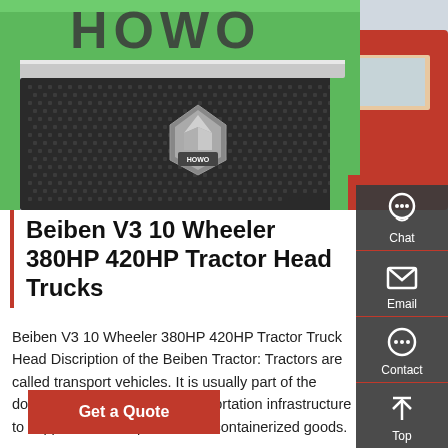[Figure (photo): Close-up photo of a green HOWO truck front grille with the HOWO logo and badge, with a red truck visible in the background.]
Beiben V3 10 Wheeler 380HP 420HP Tractor Head Trucks
Beiben V3 10 Wheeler 380HP 420HP Tractor Truck Head Discription of the Beiben Tractor: Tractors are called transport vehicles. It is usually part of the domestic or international transportation infrastructure to support the transportation of containerized goods.
Get a Quote